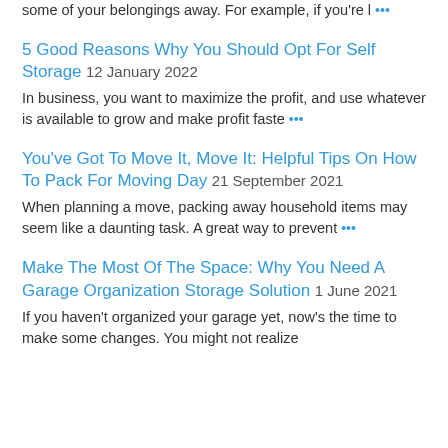… some of your belongings away. For example, if you're l …
5 Good Reasons Why You Should Opt For Self Storage
12 January 2022
In business, you want to maximize the profit, and use whatever is available to grow and make profit faste …
You've Got To Move It, Move It: Helpful Tips On How To Pack For Moving Day
21 September 2021
When planning a move, packing away household items may seem like a daunting task. A great way to prevent …
Make The Most Of The Space: Why You Need A Garage Organization Storage Solution
1 June 2021
If you haven't organized your garage yet, now's the time to make some changes. You might not realize …